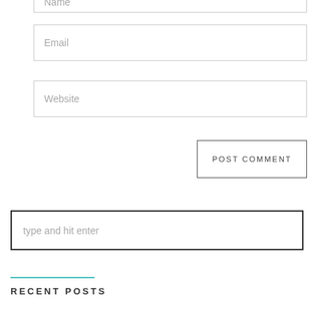Name
Email
Website
POST COMMENT
type and hit enter
RECENT POSTS